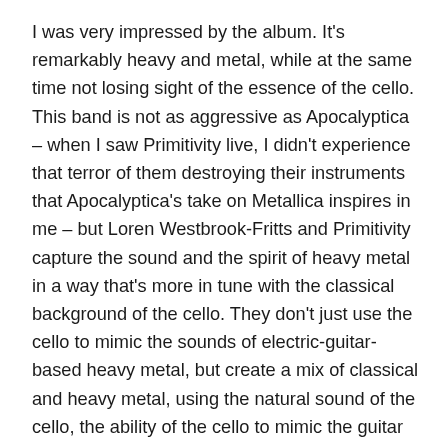I was very impressed by the album. It's remarkably heavy and metal, while at the same time not losing sight of the essence of the cello. This band is not as aggressive as Apocalyptica – when I saw Primitivity live, I didn't experience that terror of them destroying their instruments that Apocalyptica's take on Metallica inspires in me – but Loren Westbrook-Fritts and Primitivity capture the sound and the spirit of heavy metal in a way that's more in tune with the classical background of the cello. They don't just use the cello to mimic the sounds of electric-guitar-based heavy metal, but create a mix of classical and heavy metal, using the natural sound of the cello, the ability of the cello to mimic the guitar as well as the voice, and the unique sounds somewhere in between to express themselves in an unusual way that is both headbang-worthy heavy and classically beautiful.